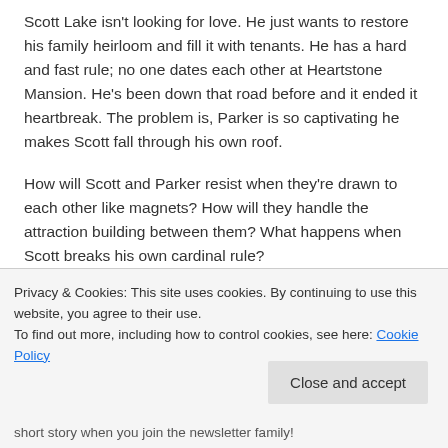Scott Lake isn't looking for love. He just wants to restore his family heirloom and fill it with tenants. He has a hard and fast rule; no one dates each other at Heartstone Mansion. He's been down that road before and it ended it heartbreak. The problem is, Parker is so captivating he makes Scott fall through his own roof.
How will Scott and Parker resist when they're drawn to each other like magnets? How will they handle the attraction building between them? What happens when Scott breaks his own cardinal rule?
Privacy & Cookies: This site uses cookies. By continuing to use this website, you agree to their use.
To find out more, including how to control cookies, see here: Cookie Policy
Close and accept
short story when you join the newsletter family!